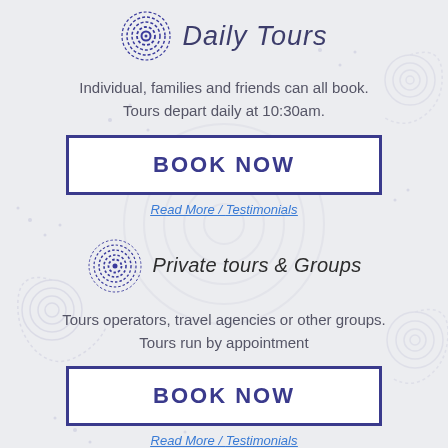[Figure (illustration): Background decorative Aboriginal-style swirl and dot pattern in light grey]
Daily Tours
Individual, families and friends can all book.
Tours depart daily at 10:30am.
BOOK NOW
Read More / Testimonials
Private tours & Groups
Tours operators, travel agencies or other groups.
Tours run by appointment
BOOK NOW
Read More / Testimonials